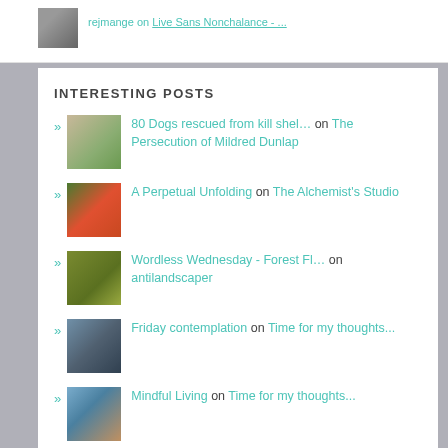[Figure (photo): Small avatar photo of a person, black and white, partially visible at top]
INTERESTING POSTS
80 Dogs rescued from kill shel… on The Persecution of Mildred Dunlap
A Perpetual Unfolding on The Alchemist's Studio
Wordless Wednesday - Forest Fl… on antilandscaper
Friday contemplation on Time for my thoughts...
Mindful Living on Time for my thoughts...
Tuesday's Quotes - August 16,… on Time for my thoughts...